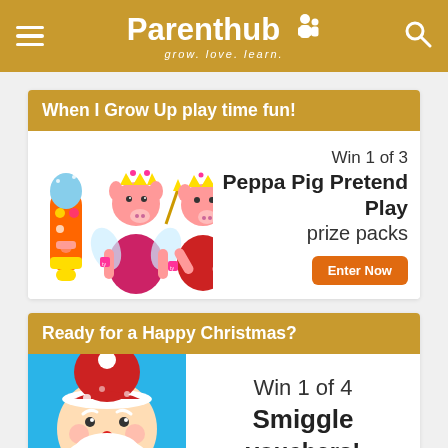Parenthub — grow. love. learn.
[Figure (screenshot): Promotion card: When I Grow Up play time fun! Win 1 of 3 Peppa Pig Pretend Play prize packs. Shows toy microphone and two Peppa Pig plush figures. Enter Now button.]
[Figure (screenshot): Promotion card: Ready for a Happy Christmas? Win 1 of 4 Smiggle vouchers! Shows cartoon Santa Claus illustration on blue background.]